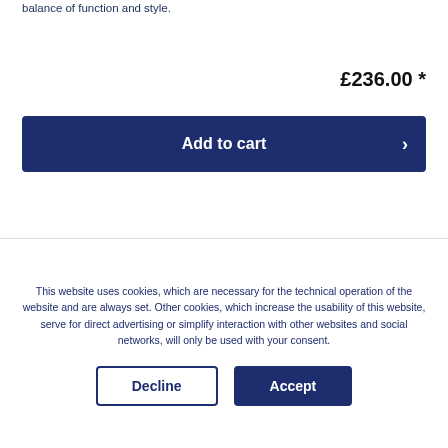balance of function and style.
£236.00 *
Add to cart
Compare
Remember
This website uses cookies, which are necessary for the technical operation of the website and are always set. Other cookies, which increase the usability of this website, serve for direct advertising or simplify interaction with other websites and social networks, will only be used with your consent.
Decline
Accept